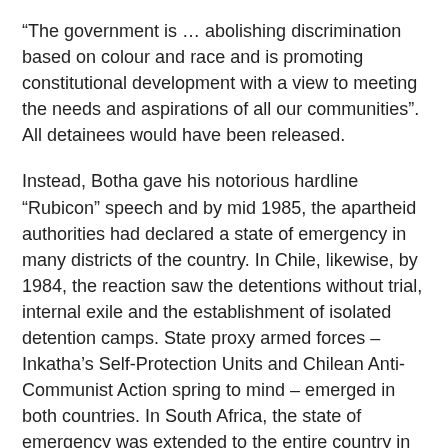“The government is … abolishing discrimination based on colour and race and is promoting constitutional development with a view to meeting the needs and aspirations of all our communities”. All detainees would have been released.
Instead, Botha gave his notorious hardline “Rubicon” speech and by mid 1985, the apartheid authorities had declared a state of emergency in many districts of the country. In Chile, likewise, by 1984, the reaction saw the detentions without trial, internal exile and the establishment of isolated detention camps. State proxy armed forces – Inkatha’s Self-Protection Units and Chilean Anti-Communist Action spring to mind – emerged in both countries. In South Africa, the state of emergency was extended to the entire country in 1985 and lasted until 1989 (1990 in the province of KwaZulu-Natal), with unprecedentedly violent clashes between residents, workers and the authorities and their proxy forces. This insurgency is well documented but I do need to stress the grassroots nature of the struggle: with hundreds of multipartisan community, youth, labour, political, church, human rights and other organisations working together within the broad UDF and other similar initiatives aimed at the